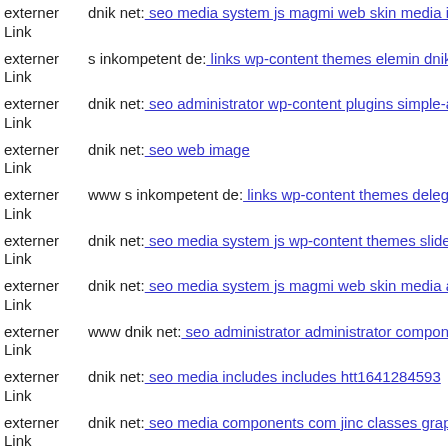externer Link | dnik net: seo media system js magmi web skin media image
externer Link | s inkompetent de: links wp-content themes elemin dnik net
externer Link | dnik net: seo administrator wp-content plugins simple-ads-m
externer Link | dnik net: seo web image
externer Link | www s inkompetent de: links wp-content themes delegate s
externer Link | dnik net: seo media system js wp-content themes slide s ink
externer Link | dnik net: seo media system js magmi web skin media admir
externer Link | www dnik net: seo administrator administrator components
externer Link | dnik net: seo media includes includes htt1641284593
externer Link | dnik net: seo media components com jinc classes graphics p
externer Link | www dnik net: seo trackback
externer Link | ...